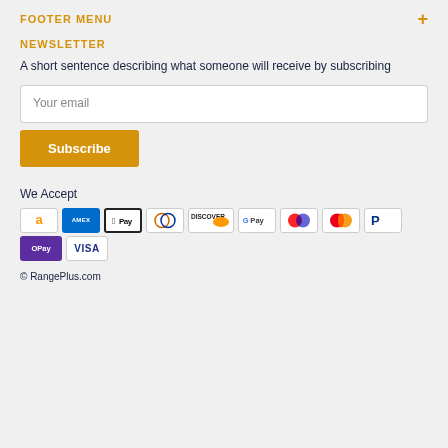FOOTER MENU
NEWSLETTER
A short sentence describing what someone will receive by subscribing
Your email
Subscribe
We Accept
[Figure (other): Payment method icons: Amazon, AMEX, Apple Pay, Diners Club, Discover, Google Pay, Maestro, Mastercard, PayPal, OPay, VISA]
© RangePlus.com